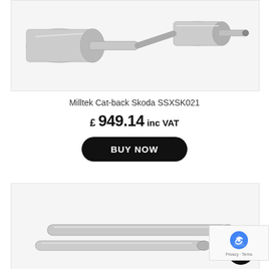[Figure (photo): Milltek cat-back exhaust system components on white background, showing muffler and pipe sections]
Milltek Cat-back Skoda SSXSK021
£ 949.14 inc VAT
BUY NOW
[Figure (photo): Milltek exhaust pipe sections on white background, showing polished stainless steel pipes]